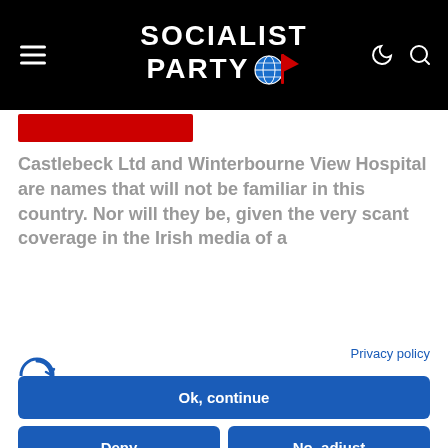Socialist Party
Castlebeck Ltd and Winterbourne View Hospital are names that will not be familiar in this country. Nor will they be, given the very scant coverage in the Irish media of a
Privacy policy
[Figure (logo): Complianz cookie consent logo — stylized C with arrow]
We use cookies
We may place these for analysis of our visitor data, to improve our website, show personalised content and to give you a great website experience. For more information about the cookies we use open the settings.
Ok, continue
Deny
No, adjust